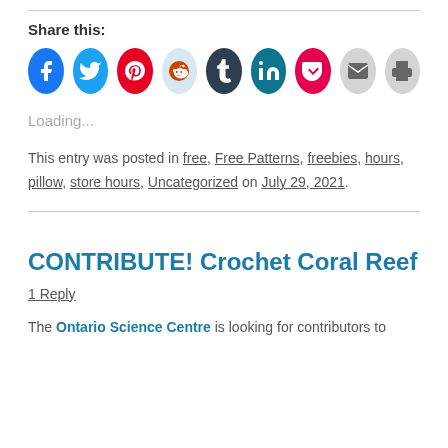Share this:
[Figure (infographic): Row of social sharing icon circles: Facebook (blue), Twitter (light blue), Pinterest (red), Reddit (light blue/grey), Tumblr (dark navy), LinkedIn (teal), Pocket (red), Email (grey), Print (grey)]
Loading...
This entry was posted in free, Free Patterns, freebies, hours, pillow, store hours, Uncategorized on July 29, 2021.
CONTRIBUTE! Crochet Coral Reef
1 Reply
The Ontario Science Centre is looking for contributors to